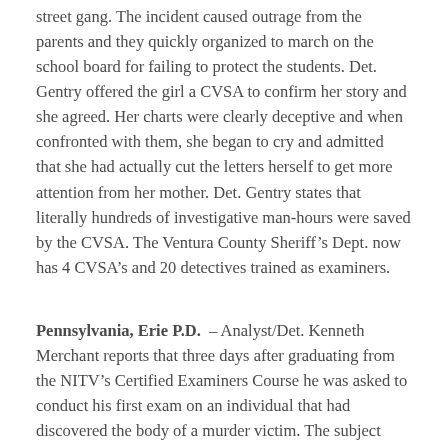street gang. The incident caused outrage from the parents and they quickly organized to march on the school board for failing to protect the students. Det. Gentry offered the girl a CVSA to confirm her story and she agreed. Her charts were clearly deceptive and when confronted with them, she began to cry and admitted that she had actually cut the letters herself to get more attention from her mother. Det. Gentry states that literally hundreds of investigative man-hours were saved by the CVSA. The Ventura County Sheriff’s Dept. now has 4 CVSA’s and 20 detectives trained as examiners.
Pennsylvania, Erie P.D. – Analyst/Det. Kenneth Merchant reports that three days after graduating from the NITV’s Certified Examiners Course he was asked to conduct his first exam on an individual that had discovered the body of a murder victim. The subject showed no deception except when asked if